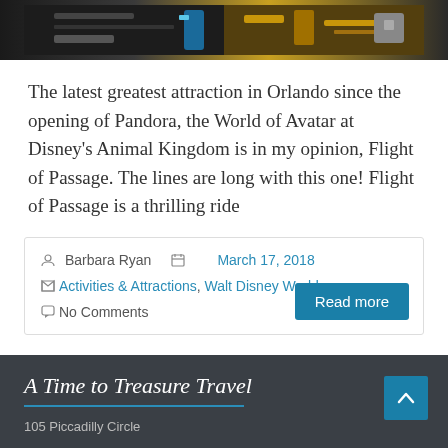[Figure (photo): Dark photo strip showing machinery or ride equipment with blue and yellow/gold mechanical parts]
The latest greatest attraction in Orlando since the opening of Pandora, the World of Avatar at Disney's Animal Kingdom is in my opinion, Flight of Passage. The lines are long with this one! Flight of Passage is a thrilling ride
Barbara Ryan   March 17, 2018
Activities & Attractions, Walt Disney World
No Comments
Read more
A Time to Treasure Travel
105 Piccadilly Circle